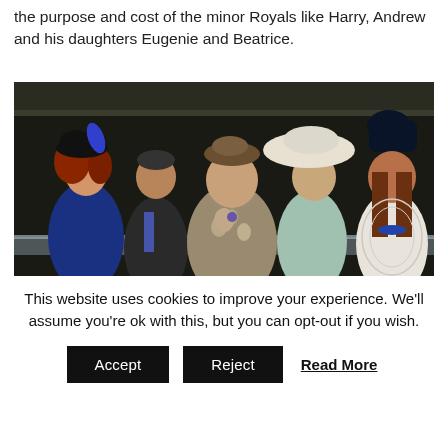the purpose and cost of the minor Royals like Harry, Andrew and his daughters Eugenie and Beatrice.
[Figure (photo): Photo of Sarah Ferguson, Prince Andrew, Princess Eugenie, an unidentified woman in a large hat, and Princess Beatrice standing in what appears to be a royal enclosure viewing box, all wearing formal attire and hats.]
This website uses cookies to improve your experience. We'll assume you're ok with this, but you can opt-out if you wish.
Accept
Reject
Read More